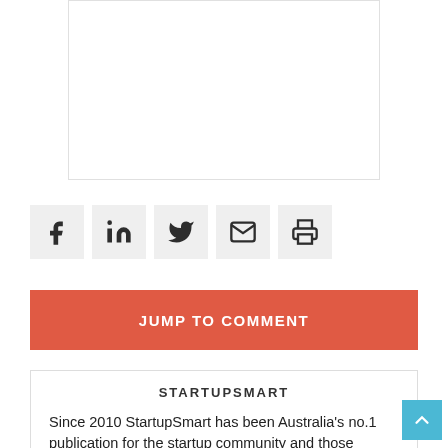[Figure (screenshot): White box with light grey border — placeholder for image or content]
[Figure (infographic): Row of five social sharing icon buttons: Facebook, LinkedIn, Twitter, Email, Print — each in a light grey square]
JUMP TO COMMENT
STARTUPSMART
Since 2010 StartupSmart has been Australia's no.1 publication for the startup community and those